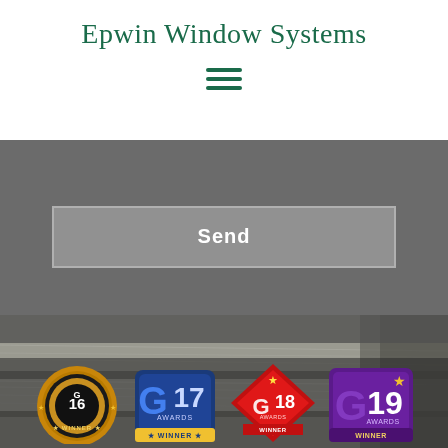Epwin Window Systems
[Figure (other): Hamburger menu icon (three horizontal dark green lines)]
Send
[Figure (photo): Close-up photo of grey wood-effect window profile/frame material with textured surface and linear grain detail]
[Figure (logo): Four award logos in a row: G16 Winner (gold circular badge), G17 Awards Winner (blue badge), G18 Awards Winner (red diamond badge), G19 Awards Winner (purple badge with gold star)]